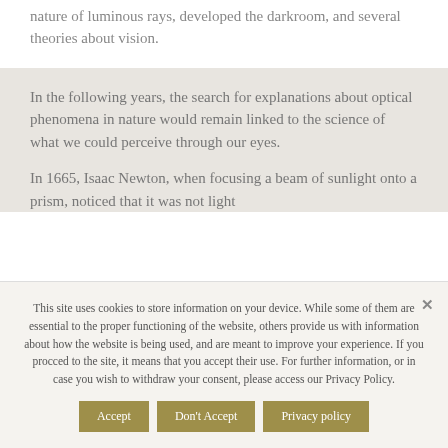nature of luminous rays, developed the darkroom, and several theories about vision.
In the following years, the search for explanations about optical phenomena in nature would remain linked to the science of what we could perceive through our eyes.
In 1665, Isaac Newton, when focusing a beam of sunlight onto a prism, noticed that it was not light
This site uses cookies to store information on your device. While some of them are essential to the proper functioning of the website, others provide us with information about how the website is being used, and are meant to improve your experience. If you procced to the site, it means that you accept their use. For further information, or in case you wish to withdraw your consent, please access our Privacy Policy.